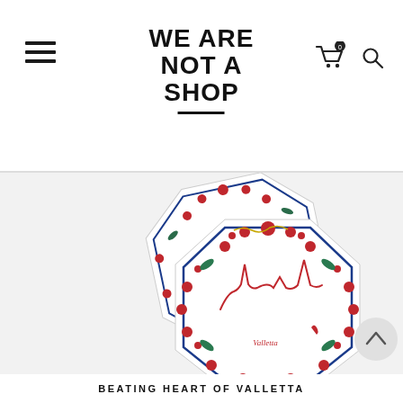WE ARE NOT A SHOP
[Figure (photo): Two decorative octagonal ceramic plates with red floral border patterns and a Valletta city skyline illustration in the center, overlapping each other on a light background.]
BEATING HEART OF VALLETTA